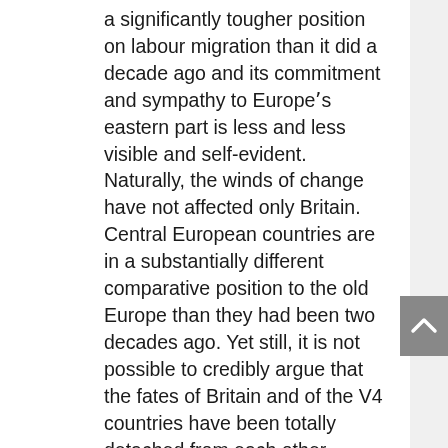a significantly tougher position on labour migration than it did a decade ago and its commitment and sympathy to Europeʼs eastern part is less and less visible and self-evident. Naturally, the winds of change have not affected only Britain. Central European countries are in a substantially different comparative position to the old Europe than they had been two decades ago. Yet still, it is not possible to credibly argue that the fates of Britain and of the V4 countries have been totally detached from each other.
On todayʼs political chessboard of the European Union, Great Britain is a strong partner (if not even an internal ally) of Central Europe in a number of relevant policy areas. Whether it is the agenda of enhancing (i.e. completing) the single market in all economic sectors, further liberalization of global trade, or accentuating the sheer importance of the transatlantic bond, Britain and Central Europe normally come to terms naturally. Quite